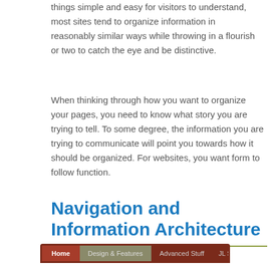things simple and easy for visitors to understand, most sites tend to organize information in reasonably similar ways while throwing in a flourish or two to catch the eye and be distinctive.
When thinking through how you want to organize your pages, you need to know what story you are trying to tell. To some degree, the information you are trying to communicate will point you towards how it should be organized. For websites, you want form to follow function.
Navigation and Information Architecture
[Figure (screenshot): Navigation bar screenshot showing menu items: Home, Design & Features, Advanced Stuff, JL Stuff on a dark brown background]